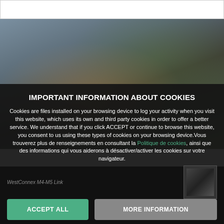[Figure (photo): Architectural rendering of a modern building with wood-slat facade, seen from street level with greenery and parked vehicles]
IMPORTANT INFORMATION ABOUT COOKIES
Cookies are files installed on your browsing device to log your activity when you visit this website, which uses its own and third party cookies in order to offer a better service. We understand that if you click ACCEPT or continue to browse this website, you consent to us using these types of cookies on your browsing device.Vous trouverez plus de renseignements en consultant la Politique de cookies, ainsi que des informations qui vous aiderons à désactiver/activer les cookies sur votre navigateur.
WestConnex M4-M5 Link
ACCEPT ALL
MORE INFORMATION